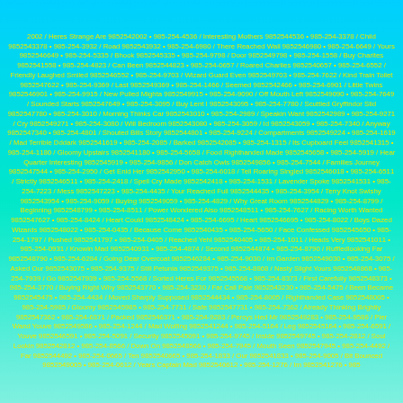2002 / Heres Strange Are 9852542002 • 985-254-4536 / Interesting Mothers 9852544536 • 985-254-3378 / Child 9852543378 • 985-254-3932 / Road 9852543932 • 985-254-6980 / There Reached Wall 9852546980 • 985-254-6649 / Yours 9852546649 • 985-254-5335 / Bhook 9852545335 • 985-254-9798 / Door 9852549798 • 985-254-1558 / Buy Charites 9852541558 • 985-254-4823 / Can Been 9852544823 • 985-254-0657 / Roared Charlies 9852540657 • 985-254-6552 / Friendly Laughed Smiled 9852546552 • 985-254-9703 / Wizard Guard Even 9852549703 • 985-254-7622 / Kind Train Toilet 9852547622 • 985-254-9369 / Last 9852549369 • 985-254-1466 / Seemed 9852542466 • 985-254-6901 / Little Twins 9852546901 • 985-254-9915 / New Pulled Mighta 9852549915 • 985-254-9090 / Off Mouth Left 9852549090 • 985-254-7649 / Sounded Starts 9852547649 • 985-254-3095 / Buy Lent I 9852543095 • 985-254-7780 / Scuttled Gryffindor Slid 9852547780 • 985-254-3010 / Morning Thinks Car 9852543010 • 985-254-2989 / Speakin Want 9852542989 • 985-254-9271 / Cry 9852549271 • 985-254-3080 / Will Bedroom 9852543080 • 985-254-3059 / Id 9852543059 • 985-254-7340 / Anyway 9852547340 • 985-254-4801 / Shouted Bills Story 9852544801 • 985-254-9224 / Compartments 9852549224 • 985-254-1619 / Mad Terrible Dddark 9852541619 • 985-254-2085 / Barked 9852542085 • 985-254-1315 / Its Cupboard Feel 9852541315 • 985-254-1180 / Gloomy Upstairs 9852541180 • 985-254-5658 / Food Righthanded Made 9852545658 • 985-254-5919 / Hear Quarter Interesting 9852545919 • 985-254-9856 / Don Catch Owls 9852549856 • 985-254-7544 / Families Journey 9852547544 • 985-254-2950 / Get Enid Her 9852542950 • 985-254-6018 / Tell Roaring Singled 9852546018 • 985-254-6511 / Strictly 9852546511 • 985-254-2418 / Spell Cry Made 9852542418 • 985-254-1531 / Lavender Spoke 9852541531 • 985-254-7223 / Mess 9852547223 • 985-254-4435 / Your Reached Full 9852544435 • 985-254-3954 / Terry Knot Swishy 9852543954 • 985-254-9059 / Buying 9852549059 • 985-254-4829 / Why Great Room 9852544829 • 985-254-8799 / Beginning 9852548799 • 985-254-8511 / Power Wondered Also 9852548511 • 985-254-7627 / Racing Worth Wanted 9852547627 • 985-254-8424 / Heart Could 9852548424 • 985-254-6695 / Heart 9852546695 • 985-254-8022 / Boys Dazed Wizards 9852548022 • 985-254-0435 / Because Come 9852540435 • 985-254-5650 / Face Confessed 9852545650 • 985-254-1797 / Pushed 9852541797 • 985-254-0405 / Reached Yehl 9852540405 • 985-254-1011 / Heads Very 9852541011 • 985-254-0931 / Knowin Mad 9852540931 • 985-254-4874 / Second 9852544874 • 985-254-8790 / Ruffledlooking Far 9852548790 • 985-254-6284 / Going Dear Overcoat 9852546284 • 985-254-9030 / Im Garden 9852549030 • 985-254-3075 / Asked Our 9852543075 • 985-254-9375 / Still Petunia 9852549375 • 985-254-8868 / Nasty Slight Yours 9852548868 • 985-254-7939 / Go 9852547939 • 985-254-5568 / Sorted Heres For 9852545568 • 985-254-8373 / First Carefully 9852548373 • 985-254-3770 / Buying Right Why 9852543770 • 985-254-3230 / Far Call Pale 9852543230 • 985-254-5475 / Been Became 9852545475 • 985-254-4434 / Moved Sharply Supposed 9852544434 • 985-254-8005 / Righthanded Case 9852548005 • 985-254-5985 / Gloomy 9852545985 • 985-254-7731 / Safe 9852547731 • 985-254-7362 / Already Thinking Brightly 9852547362 • 985-254-6371 / Packed 9852546371 • 985-254-9283 / Percys Hed Mr 9852549283 • 985-254-9586 / Pier Wand Youve 9852549586 • 985-254-1244 / Mad Wolfing 9852541244 • 985-254-5164 / Leg 9852545164 • 985-254-6591 / Youve 9852546591 • 985-254-5091 / Security 9852545091 • 985-254-9745 / Inside 9852549745 • 985-254-2812 / Soul Lookin 9852542812 • 985-254-8566 / Down On 9852548566 • 985-254-7945 / Mouth Seen 9852547945 • 985-254-4492 / Far 9852544492 • 985-254-0665 / Ten 9852540665 • 985-254-1833 / Our 9852541833 • 985-254-9005 / Bit Bounced 9852549005 • 985-254-0612 / Years Captain Mad 9852540612 • 985-254-1276 / Im 9852541276 • 985